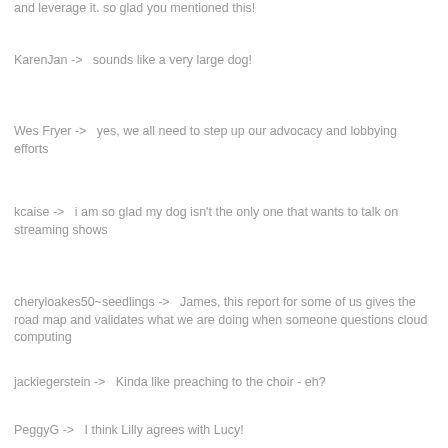and leverage it. so glad you mentioned this!
KarenJan ->   sounds like a very large dog!
Wes Fryer ->   yes, we all need to step up our advocacy and lobbying efforts
kcaise ->   i am so glad my dog isn't the only one that wants to talk on streaming shows
cheryloakes50~seedlings ->   James, this report for some of us gives the road map and validates what we are doing when someone questions cloud computing
jackiegerstein ->   Kinda like preaching to the choir - eh?
PeggyG ->   I think Lilly agrees with Lucy!